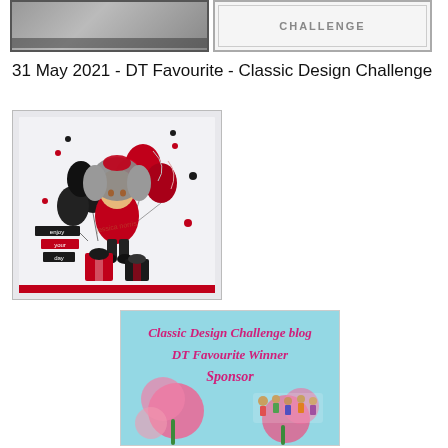[Figure (photo): Top-left cropped image showing partial card with illustrated character and text, with dark border]
[Figure (photo): Top-right image showing a challenge blog banner with text 'CHALLENGE' on light background with border]
31 May 2021 - DT Favourite - Classic Design Challenge
[Figure (photo): Card image featuring an anime-style girl with grey hair, red and black balloons, gifts, confetti, and text 'enjoy your day' on white/grey background]
[Figure (photo): Badge image reading 'Classic Design Challenge blog DT Favourite Winner Sponsor' with pink flowers and small character illustrations on teal/aqua background]